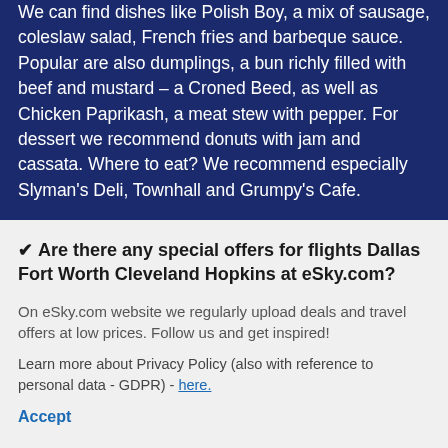We can find dishes like Polish Boy, a mix of sausage, coleslaw salad, French fries and barbeque sauce. Popular are also dumplings, a bun richly filled with beef and mustard – a Croned Beed, as well as Chicken Paprikash, a meat stew with pepper. For dessert we recommend donuts with jam and cassata. Where to eat? We recommend especially Slyman's Deli, Townhall and Grumpy's Cafe.
✔ Are there any special offers for flights Dallas Fort Worth Cleveland Hopkins at eSky.com?
On eSky.com website we regularly upload deals and travel offers at low prices. Follow us and get inspired!
Learn more about Privacy Policy (also with reference to personal data - GDPR) - here.
Accept